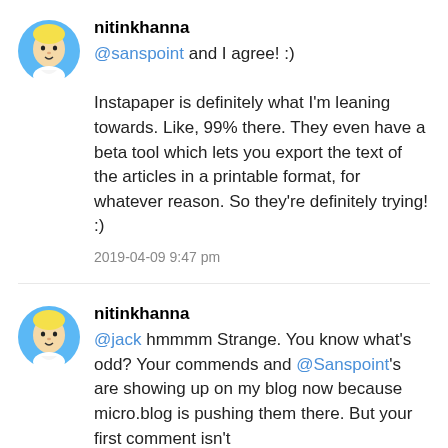nitinkhanna
@sanspoint and I agree! :)

Instapaper is definitely what I'm leaning towards. Like, 99% there. They even have a beta tool which lets you export the text of the articles in a printable format, for whatever reason. So they're definitely trying! :)
2019-04-09 9:47 pm
nitinkhanna
@jack hmmmm Strange. You know what's odd? Your commends and @Sanspoint's are showing up on my blog now because micro.blog is pushing them there. But your first comment isn't